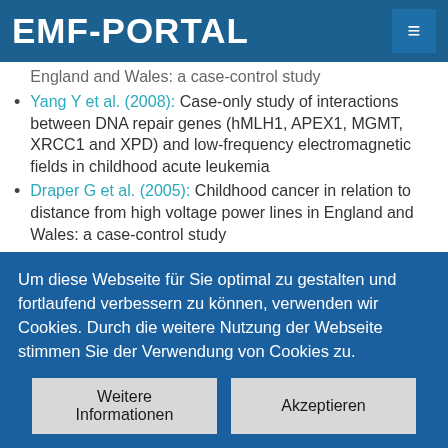EMF-PORTAL
England and Wales: a case-control study
Yang Y et al. (2008): Case-only study of interactions between DNA repair genes (hMLH1, APEX1, MGMT, XRCC1 and XPD) and low-frequency electromagnetic fields in childhood acute leukemia
Draper G et al. (2005): Childhood cancer in relation to distance from high voltage power lines in England and Wales: a case-control study
Schüz J et al. (2001): Risk factors for pediatric
Um diese Webseite für Sie optimal zu gestalten und fortlaufend verbessern zu können, verwenden wir Cookies. Durch die weitere Nutzung der Webseite stimmen Sie der Verwendung von Cookies zu.
Weitere Informationen | Akzeptieren